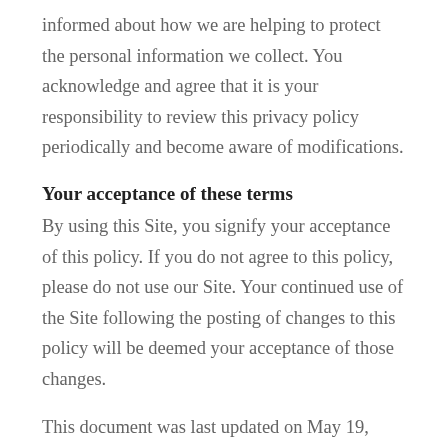informed about how we are helping to protect the personal information we collect. You acknowledge and agree that it is your responsibility to review this privacy policy periodically and become aware of modifications.
Your acceptance of these terms
By using this Site, you signify your acceptance of this policy. If you do not agree to this policy, please do not use our Site. Your continued use of the Site following the posting of changes to this policy will be deemed your acceptance of those changes.
This document was last updated on May 19,